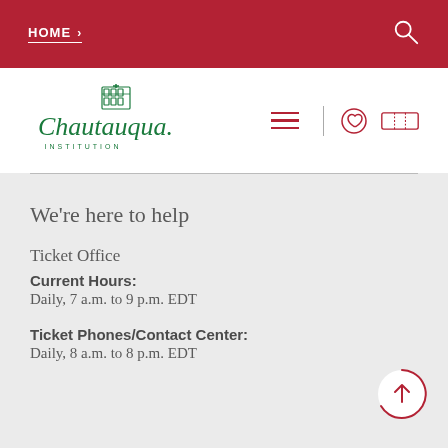HOME >
[Figure (logo): Chautauqua Institution logo with stylized script text and building illustration]
We're here to help
Ticket Office
Current Hours:
Daily, 7 a.m. to 9 p.m. EDT
Ticket Phones/Contact Center:
Daily, 8 a.m. to 8 p.m. EDT